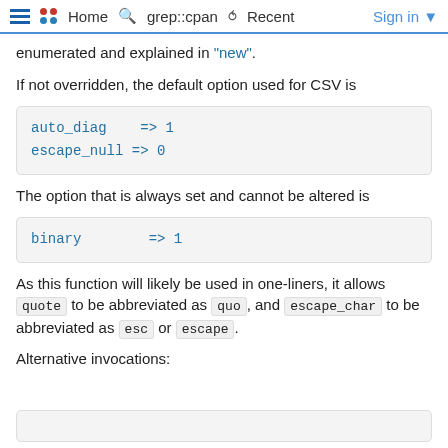≡ •• Home  🔍 grep::cpan  ↺ Recent  Sign in ▾
enumerated and explained in "new".
If not overridden, the default option used for CSV is
auto_diag    => 1
escape_null => 0
The option that is always set and cannot be altered is
binary        => 1
As this function will likely be used in one-liners, it allows quote to be abbreviated as quo, and escape_char to be abbreviated as esc or escape.
Alternative invocations: